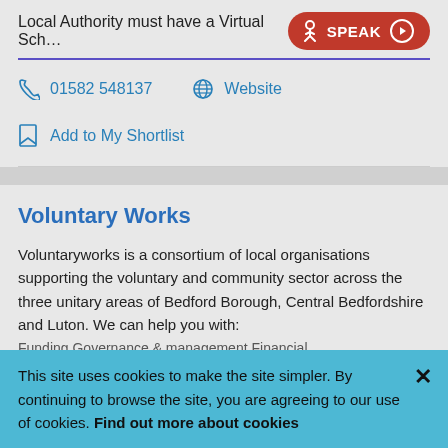Local Authority must have a Virtual Sch…
01582 548137
Website
Add to My Shortlist
Voluntary Works
Voluntaryworks is a consortium of local organisations supporting the voluntary and community sector across the three unitary areas of Bedford Borough, Central Bedfordshire and Luton. We can help you with: Funding Governance & management Financial…
This site uses cookies to make the site simpler. By continuing to browse the site, you are agreeing to our use of cookies. Find out more about cookies